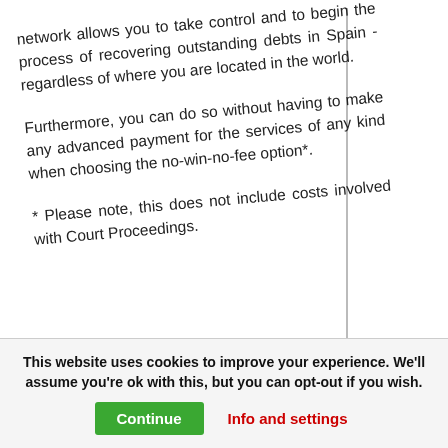network allows you to take control and to begin the process of recovering outstanding debts in Spain - regardless of where you are located in the world.
Furthermore, you can do so without having to make any advanced payment for the services of any kind when choosing the no-win-no-fee option*.
* Please note, this does not include costs involved with Court Proceedings.
This website uses cookies to improve your experience. We'll assume you're ok with this, but you can opt-out if you wish.